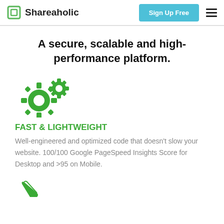Shareaholic | Sign Up Free
A secure, scalable and high-performance platform.
[Figure (illustration): Two green gear/cog icons representing performance settings]
FAST & LIGHTWEIGHT
Well-engineered and optimized code that doesn't slow your website. 100/100 Google PageSpeed Insights Score for Desktop and >95 on Mobile.
[Figure (illustration): Green checkmark or shield icon partially visible at bottom of page]